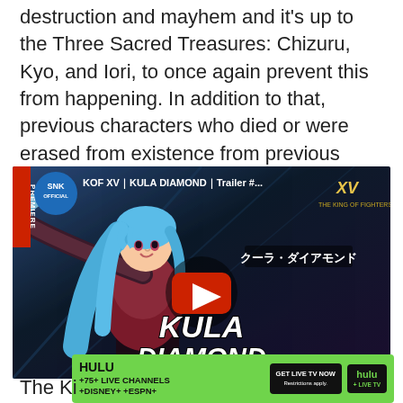destruction and mayhem and it's up to the Three Sacred Treasures: Chizuru, Kyo, and Iori, to once again prevent this from happening. In addition to that, previous characters who died or were erased from existence from previous sagas ended up returning due to Verse's appearance.
[Figure (screenshot): YouTube video thumbnail for KOF XV - KULA DIAMOND Trailer. Shows an anime-style female character with blue hair in a fighting pose. SNK OFFICIAL badge in top left, red play button in center, KULA DIAMOND name text at bottom, Japanese text overlay.]
[Figure (infographic): Hulu advertisement banner: HULU +75+ LIVE CHANNELS +DISNEY+ +ESPN+, GET LIVE TV NOW button, Hulu + LIVE TV logo. Green background.]
The Ki